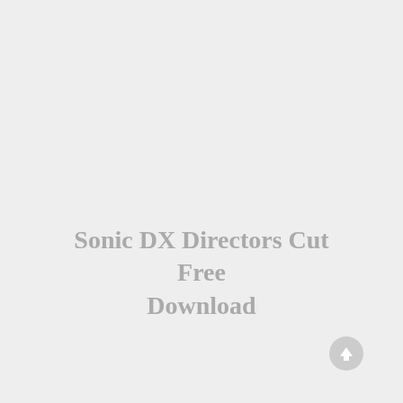Sonic DX Directors Cut Free Download
[Figure (illustration): Scroll-to-top button icon: circular grey button with upward-pointing arrow]